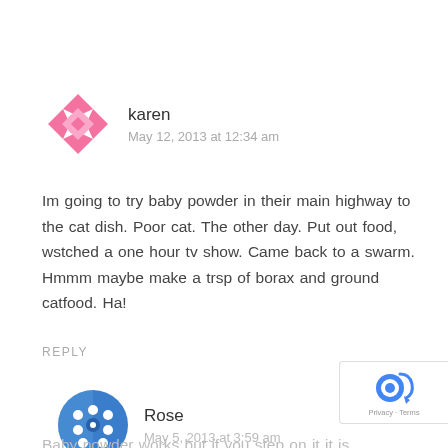[Figure (logo): Pink geometric/origami-style avatar for user karen]
karen
May 12, 2013 at 12:34 am
Im going to try baby powder in their main highway to the cat dish. Poor cat. The other day. Put out food, wstched a one hour tv show. Came back to a swarm. Hmmm maybe make a trsp of borax and ground catfood. Ha!
REPLY
[Figure (logo): Blue circular avatar with white dots pattern for user Rose]
Rose
May 5, 2013 at 3:59 am
Baby powder works but if you step on it it is